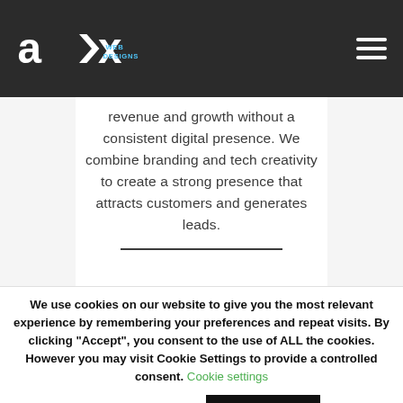AIX Web Designs
revenue and growth without a consistent digital presence. We combine branding and tech creativity to create a strong presence that attracts customers and generates leads.
We use cookies on our website to give you the most relevant experience by remembering your preferences and repeat visits. By clicking "Accept", you consent to the use of ALL the cookies. However you may visit Cookie Settings to provide a controlled consent. Cookie settings ACCEPT